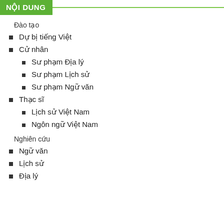NỘI DUNG
Đào tạo
Dự bị tiếng Việt
Cử nhân
Sư phạm Địa lý
Sư phạm Lịch sử
Sư phạm Ngữ văn
Thạc sĩ
Lịch sử Việt Nam
Ngôn ngữ Việt Nam
Nghiên cứu
Ngữ văn
Lịch sử
Địa lý